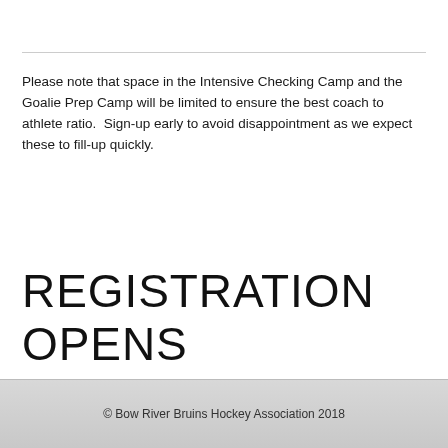Please note that space in the Intensive Checking Camp and the Goalie Prep Camp will be limited to ensure the best coach to athlete ratio.  Sign-up early to avoid disappointment as we expect these to fill-up quickly.
REGISTRATION OPENS JULY 1
© Bow River Bruins Hockey Association 2018